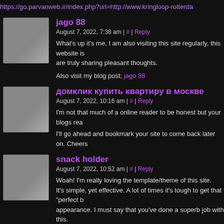https://go.parvanweb.ir/index.php?url=http://www.kringloop-rotterda
jago 88
August 7, 2022, 7:38 am | # | Reply
What's up it's me, I am also visiting this site regularly, this website is are truly sharing pleasant thoughts.
Also visit my blog post; jago 88
домклик купить квартиру в москве
August 7, 2022, 10:16 am | # | Reply
I'm not that much of a online reader to be honest but your blogs rea
I'll go ahead and bookmark your site to come back later on. Cheers
snack holder
August 7, 2022, 10:52 am | # | Reply
Woah! I'm really loving the template/theme of this site.
It's simple, yet effective. A lot of times it's tough to get that "perfect b appearance. I must say that you've done a superb job with this.
Also, the blog loads very quick for me on Firefox. Exceptional Blog!
Home solar panels